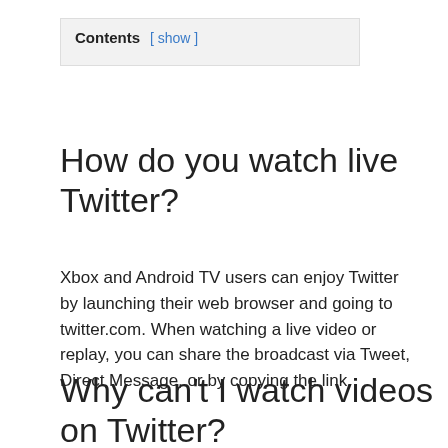Contents [ show ]
How do you watch live Twitter?
Xbox and Android TV users can enjoy Twitter by launching their web browser and going to twitter.com. When watching a live video or replay, you can share the broadcast via Tweet, Direct Message, or by copying the link.
Why can't I watch videos on Twitter?